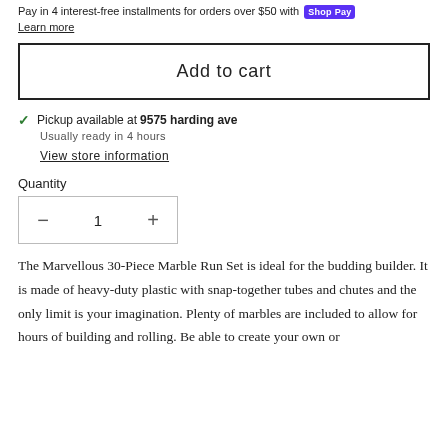Pay in 4 interest-free installments for orders over $50 with Shop Pay
Learn more
Add to cart
Pickup available at 9575 harding ave
Usually ready in 4 hours
View store information
Quantity
1
The Marvellous 30-Piece Marble Run Set is ideal for the budding builder. It is made of heavy-duty plastic with snap-together tubes and chutes and the only limit is your imagination. Plenty of marbles are included to allow for hours of building and rolling. Be able to create your own or